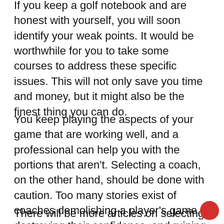If you keep a golf notebook and are honest with yourself, you will soon identify your weak points. It would be worthwhile for you to take some courses to address these specific issues. This will not only save you time and money, but it might also be the finest thing you can do.
You keep playing the aspects of your game that are working well, and a professional can help you with the portions that aren't. Selecting a coach, on the other hand, should be done with caution. Too many stories exist of coaches demolishing a player's game, destroying their confidence, and ruining their enjoyment.
There will be more articles on selecting a